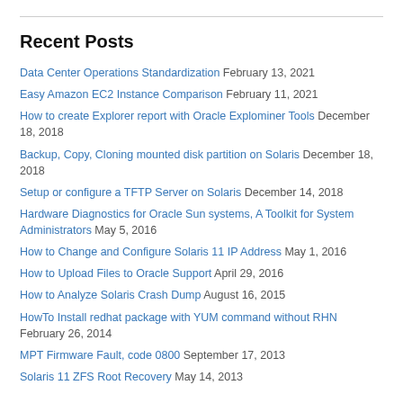Recent Posts
Data Center Operations Standardization February 13, 2021
Easy Amazon EC2 Instance Comparison February 11, 2021
How to create Explorer report with Oracle Explominer Tools December 18, 2018
Backup, Copy, Cloning mounted disk partition on Solaris December 18, 2018
Setup or configure a TFTP Server on Solaris December 14, 2018
Hardware Diagnostics for Oracle Sun systems, A Toolkit for System Administrators May 5, 2016
How to Change and Configure Solaris 11 IP Address May 1, 2016
How to Upload Files to Oracle Support April 29, 2016
How to Analyze Solaris Crash Dump August 16, 2015
HowTo Install redhat package with YUM command without RHN February 26, 2014
MPT Firmware Fault, code 0800 September 17, 2013
Solaris 11 ZFS Root Recovery May 14, 2013